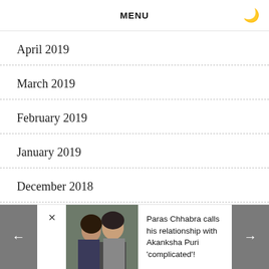MENU
April 2019
March 2019
February 2019
January 2019
December 2018
November 2018
[Figure (photo): A couple posing together, man and woman in casual clothing]
Paras Chhabra calls his relationship with Akanksha Puri 'complicated'!